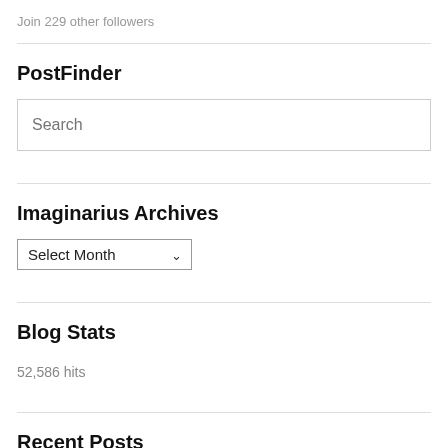Join 229 other followers
PostFinder
Search
Imaginarius Archives
Select Month
Blog Stats
52,586 hits
Recent Posts